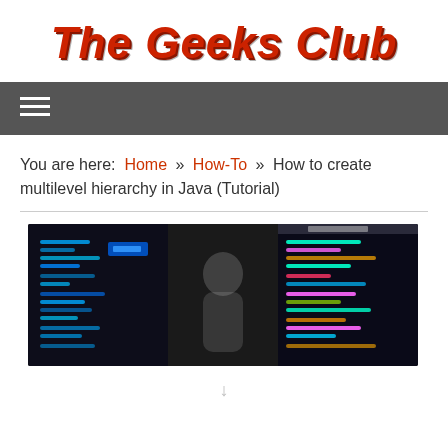The Geeks Club
Navigation menu
You are here: Home » How-To » How to create multilevel hierarchy in Java (Tutorial)
[Figure (photo): A dark programming environment showing code screens with colorful syntax-highlighted code and a person silhouette in the center]
↓